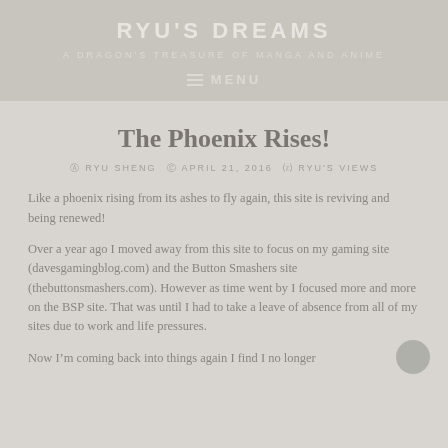RYU'S DREAMS
A DRAGON'S TREASURE OF MANGA AND ANIME
MENU
The Phoenix Rises!
RYU SHENG   APRIL 21, 2016   RYU'S VIEWS
Like a phoenix rising from its ashes to fly again, this site is reviving and being renewed!
Over a year ago I moved away from this site to focus on my gaming site (davesgamingblog.com) and the Button Smashers site (thebuttonsmashers.com). However as time went by I focused more and more on the BSP site. That was until I had to take a leave of absence from all of my sites due to work and life pressures.
Now Iâ€™m coming back into things again I find I no longer